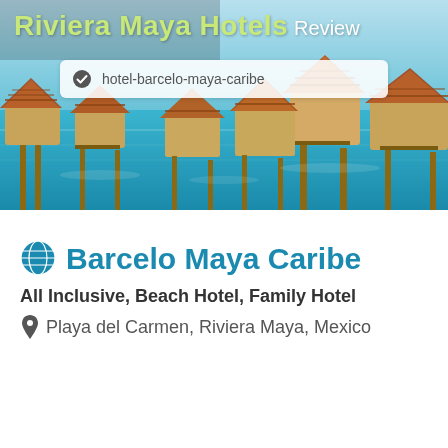[Figure (photo): Hero banner showing overwater bungalows and beach resort in turquoise Caribbean water, Riviera Maya scene]
Riviera Maya Hotels Review
hotel-barcelo-maya-caribe
Barcelo Maya Caribe
All Inclusive, Beach Hotel, Family Hotel
Playa del Carmen, Riviera Maya, Mexico